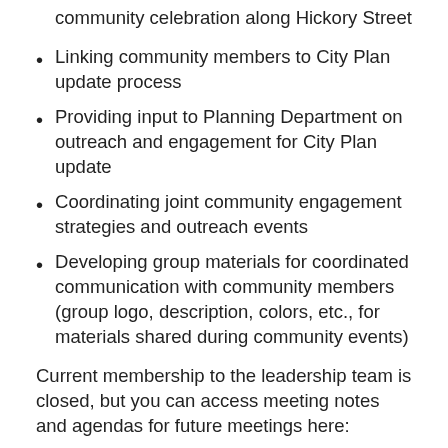community celebration along Hickory Street
Linking community members to City Plan update process
Providing input to Planning Department on outreach and engagement for City Plan update
Coordinating joint community engagement strategies and outreach events
Developing group materials for coordinated communication with community members (group logo, description, colors, etc., for materials shared during community events)
Current membership to the leadership team is closed, but you can access meeting notes and agendas for future meetings here:
Notes from meetings
Meeting Calendar